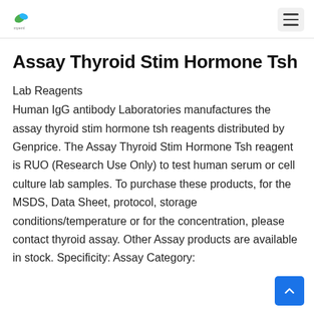MYEML logo and hamburger menu
Assay Thyroid Stim Hormone Tsh
Lab Reagents
Human IgG antibody Laboratories manufactures the assay thyroid stim hormone tsh reagents distributed by Genprice. The Assay Thyroid Stim Hormone Tsh reagent is RUO (Research Use Only) to test human serum or cell culture lab samples. To purchase these products, for the MSDS, Data Sheet, protocol, storage conditions/temperature or for the concentration, please contact thyroid assay. Other Assay products are available in stock. Specificity: Assay Category: